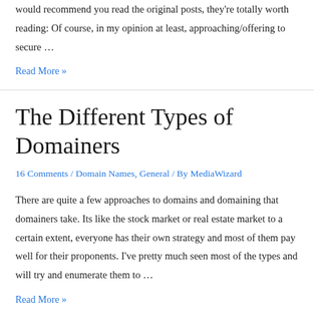would recommend you read the original posts, they're totally worth reading: Of course, in my opinion at least, approaching/offering to secure …
Read More »
The Different Types of Domainers
16 Comments / Domain Names, General / By MediaWizard
There are quite a few approaches to domains and domaining that domainers take. Its like the stock market or real estate market to a certain extent, everyone has their own strategy and most of them pay well for their proponents. I've pretty much seen most of the types and will try and enumerate them to …
Read More »